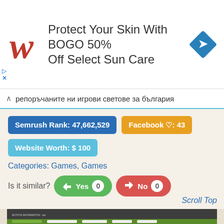[Figure (screenshot): Walgreens advertisement banner: logo, text 'Protect Your Skin With BOGO 50% Off Select Sun Care', and a blue direction sign icon]
репоръчаните ни игрови светове за българия
Semrush Rank: 47,662,529
Facebook ♡: 43
Website Worth: $ 100
Categories: Games, Games
Is it similar?  Yes 0  No 0
Scroll Top
[Figure (screenshot): Website screenshot showing a game-related webpage with dark header, navigation bar, green banner, and content columns with French text]